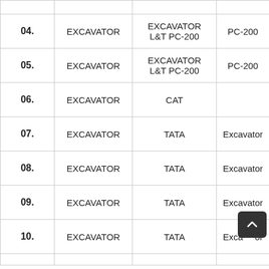| No. | Type | Brand/Model | Model |
| --- | --- | --- | --- |
| 04. | EXCAVATOR | EXCAVATOR L&T PC-200 | PC-200 |
| 05. | EXCAVATOR | EXCAVATOR L&T PC-200 | PC-200 |
| 06. | EXCAVATOR | CAT |  |
| 07. | EXCAVATOR | TATA | Excavator |
| 08. | EXCAVATOR | TATA | Excavator |
| 09. | EXCAVATOR | TATA | Excavator |
| 10. | EXCAVATOR | TATA | Excavator |